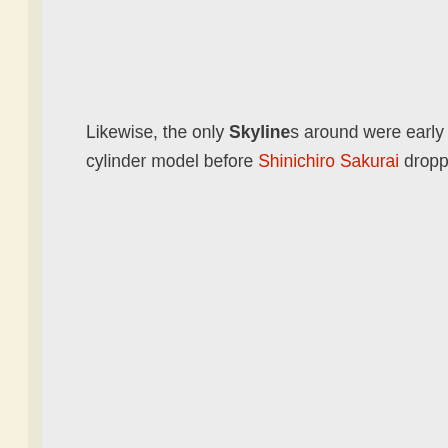Likewise, the only Skylines around were early Prince models with a 4-cylinder model before Shinichiro Sakurai dropped in a straight-6 engine